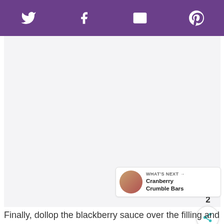Social share toolbar with Twitter, Facebook, Email, Pinterest icons
[Figure (photo): Large blank/white image area for a recipe photo]
2
WHAT'S NEXT → Cranberry Crumble Bars
Finally, dollop the blackberry sauce over the filling and